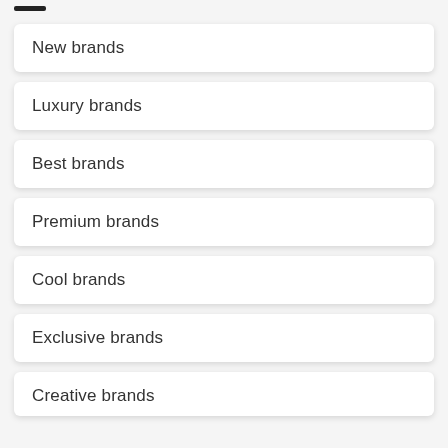New brands
Luxury brands
Best brands
Premium brands
Cool brands
Exclusive brands
Creative brands